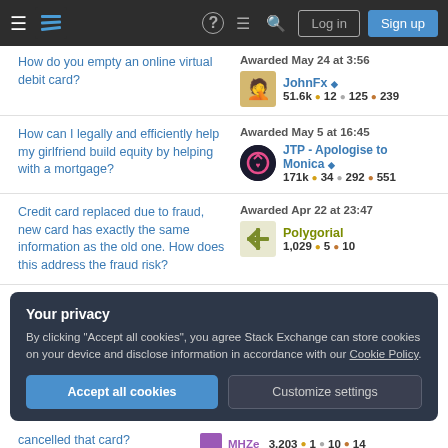Stack Exchange navigation bar with Log in and Sign up buttons
How do you empty an online virtual debit card?
Awarded May 24 at 3:56 | JohnFx ◆ 51.6k • 12 • 125 • 239
How can I legally and efficiently help my girlfriend build equity by helping with a mortgage?
Awarded May 5 at 16:45 | JTP - Apologise to Monica ◆ 171k • 34 • 292 • 551
Credit card replaced due to fraud, new card has exactly the same information as the old one. How does this address the fraud risk?
Awarded Apr 22 at 23:47 | Polygorial 1,029 • 5 • 10
Your privacy
By clicking "Accept all cookies", you agree Stack Exchange can store cookies on your device and disclose information in accordance with our Cookie Policy.
Accept all cookies
Customize settings
cancelled that card?
MHZe 3,203 • 1 • 10 • 14